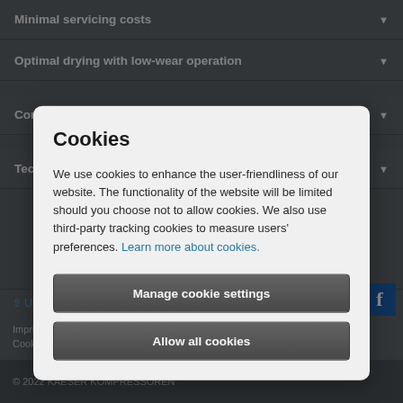Minimal servicing costs
Optimal drying with low-wear operation
Compact dimensions
Technical data
↑ Up
Imprint
Cookies
© 2022 KAESER KOMPRESSOREN
Cookies
We use cookies to enhance the user-friendliness of our website. The functionality of the website will be limited should you choose not to allow cookies. We also use third-party tracking cookies to measure users' preferences. Learn more about cookies.
Manage cookie settings
Allow all cookies